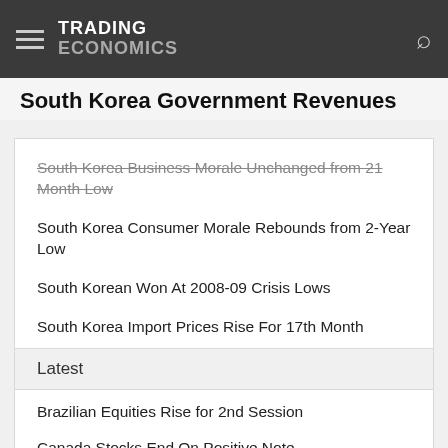TRADING ECONOMICS
South Korea Government Revenues
South Korea Business Morale Unchanged from 21 Month Low
South Korea Consumer Morale Rebounds from 2-Year Low
South Korean Won At 2008-09 Crisis Lows
South Korea Import Prices Rise For 17th Month
Latest
Brazilian Equities Rise for 2nd Session
Canada Stocks End On Positive Note
US Stocks End Sharply Lower
Paraguay August Inflation Rate at 5-Month Low